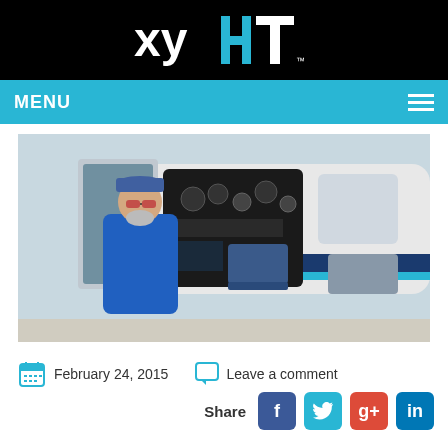[Figure (logo): XYHT logo in white and cyan on black background]
MENU
[Figure (photo): Man in blue jumpsuit and blue cap with sunglasses standing in front of a small aircraft with cockpit door open, showing instrument panel inside]
February 24, 2015   Leave a comment
Share